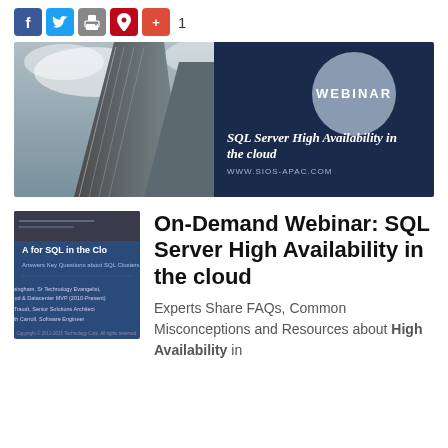[Figure (screenshot): Social sharing buttons: Facebook (blue), Twitter (light blue), print (grey), Pinterest (red), +1 (red-orange), and count '1']
[Figure (photo): Banner image: tall glass skyscraper against cloudy sky; dark navy right panel with circle logo 'WEBINAR' and text 'SQL Server High Availability in the cloud' and 'WWW.SIOS-APAC.COM']
[Figure (screenshot): Thumbnail of webinar slide: 'HA for SQL in the Cloud - Answers Key Questions about SQL Clusters...' with speaker names on dark blue background]
On-Demand Webinar: SQL Server High Availability in the cloud
Experts Share FAQs, Common Misconceptions and Resources about High Availability in